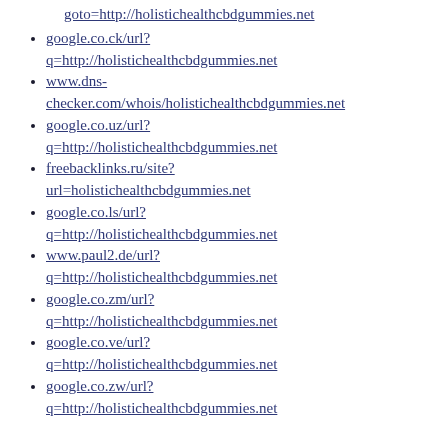goto=http://holistichealthcbdgummies.net
google.co.ck/url?q=http://holistichealthcbdgummies.net
www.dns-checker.com/whois/holistichealthcbdgummies.net
google.co.uz/url?q=http://holistichealthcbdgummies.net
freebacklinks.ru/site?url=holistichealthcbdgummies.net
google.co.ls/url?q=http://holistichealthcbdgummies.net
www.paul2.de/url?q=http://holistichealthcbdgummies.net
google.co.zm/url?q=http://holistichealthcbdgummies.net
google.co.ve/url?q=http://holistichealthcbdgummies.net
google.co.zw/url?q=http://holistichealthcbdgummies.net